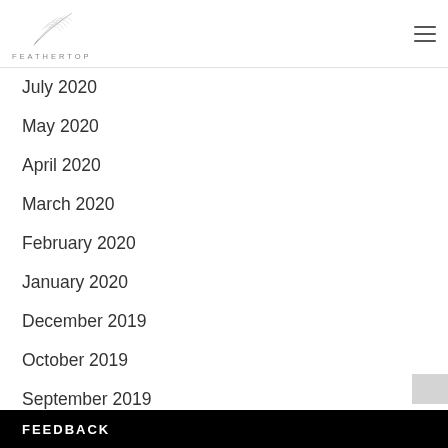FEATHERTOP
July 2020
May 2020
April 2020
March 2020
February 2020
January 2020
December 2019
October 2019
September 2019
August 2019
July 2019
June 2019
April 2019
FEEDBACK